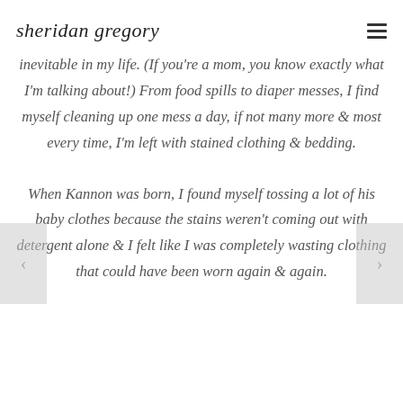sheridan gregory
inevitable in my life. (If you're a mom, you know exactly what I'm talking about!) From food spills to diaper messes, I find myself cleaning up one mess a day, if not many more & most every time, I'm left with stained clothing & bedding.
When Kannon was born, I found myself tossing a lot of his baby clothes because the stains weren't coming out with detergent alone & I felt like I was completely wasting clothing that could have been worn again & again.